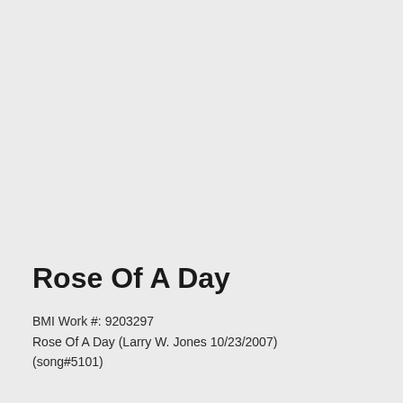Rose Of A Day
BMI Work #: 9203297
Rose Of A Day (Larry W. Jones 10/23/2007)
(song#5101)